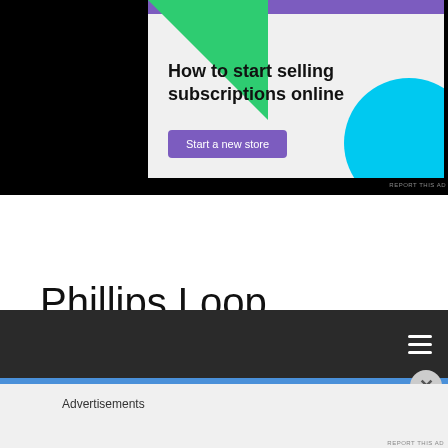[Figure (screenshot): Advertisement banner for an e-commerce platform showing 'How to start selling subscriptions online' with a purple 'Start a new store' button, green triangle and cyan circle decorative shapes on a light grey background.]
Phillips Loop
[Figure (screenshot): Dark navigation bar with hamburger menu icon (three white horizontal lines) on the right side.]
Advertisements